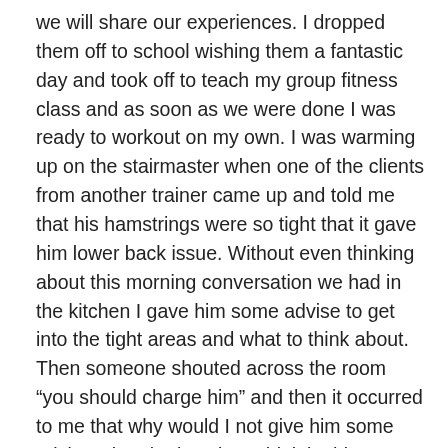we will share our experiences. I dropped them off to school wishing them a fantastic day and took off to teach my group fitness class and as soon as we were done I was ready to workout on my own. I was warming up on the stairmaster when one of the clients from another trainer came up and told me that his hamstrings were so tight that it gave him lower back issue. Without even thinking about this morning conversation we had in the kitchen I gave him some advise to get into the tight areas and what to think about. Then someone shouted across the room “you should charge him” and then it occurred to me that why would I not give him some advise when he is pain? I think in this “A-type” world we are living in, when at the most part it is all about ourselves it is important stop for a second and look around to see what I can do to make the day a little better for someone else.